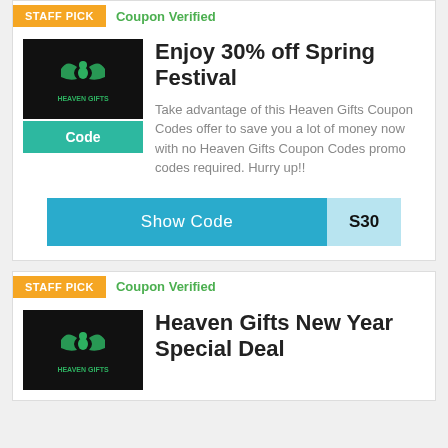STAFF PICK | Coupon Verified
Enjoy 30% off Spring Festival
[Figure (logo): Heaven Gifts logo on black background]
Code
Take advantage of this Heaven Gifts Coupon Codes offer to save you a lot of money now with no Heaven Gifts Coupon Codes promo codes required. Hurry up!!
Show Code  S30
STAFF PICK | Coupon Verified
Heaven Gifts New Year Special Deal
[Figure (logo): Heaven Gifts logo on black background]